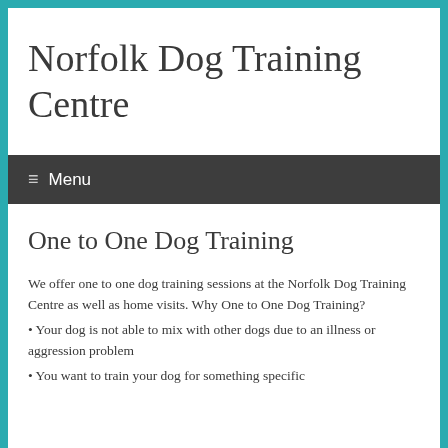Norfolk Dog Training Centre
≡ Menu
One to One Dog Training
We offer one to one dog training sessions at the Norfolk Dog Training Centre as well as home visits. Why One to One Dog Training?
• Your dog is not able to mix with other dogs due to an illness or aggression problem
• You want to train your dog for something specific